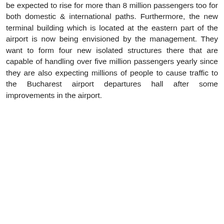be expected to rise for more than 8 million passengers too for both domestic & international paths. Furthermore, the new terminal building which is located at the eastern part of the airport is now being envisioned by the management. They want to form four new isolated structures there that are capable of handling over five million passengers yearly since they are also expecting millions of people to cause traffic to the Bucharest airport departures hall after some improvements in the airport.